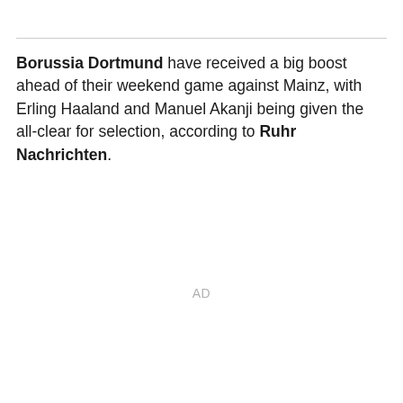Borussia Dortmund have received a big boost ahead of their weekend game against Mainz, with Erling Haaland and Manuel Akanji being given the all-clear for selection, according to Ruhr Nachrichten.
AD